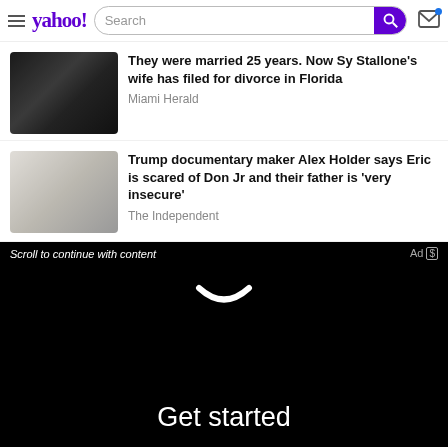yahoo! Search
They were married 25 years. Now Sy Stallone's wife has filed for divorce in Florida
Miami Herald
Trump documentary maker Alex Holder says Eric is scared of Don Jr and their father is 'very insecure'
The Independent
Scroll to continue with content
Ad
Get started